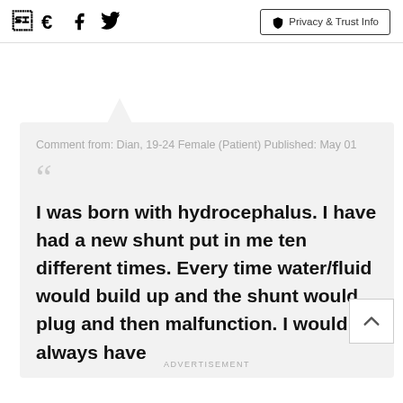Facebook Twitter Privacy & Trust Info
Comment from: Dian, 19-24 Female (Patient) Published: May 01
I was born with hydrocephalus. I have had a new shunt put in me ten different times. Every time water/fluid would build up and the shunt would plug and then malfunction. I would always have
ADVERTISEMENT